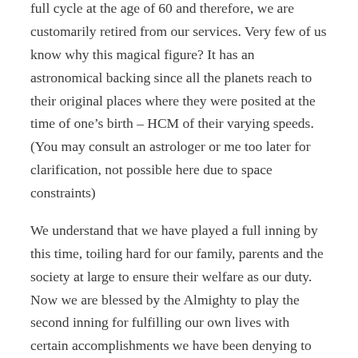full cycle at the age of 60 and therefore, we are customarily retired from our services. Very few of us know why this magical figure? It has an astronomical backing since all the planets reach to their original places where they were posited at the time of one's birth – HCM of their varying speeds. (You may consult an astrologer or me too later for clarification, not possible here due to space constraints)
We understand that we have played a full inning by this time, toiling hard for our family, parents and the society at large to ensure their welfare as our duty. Now we are blessed by the Almighty to play the second inning for fulfilling our own lives with certain accomplishments we have been denying to ourselves till now.
Certain Pertinent Advices: